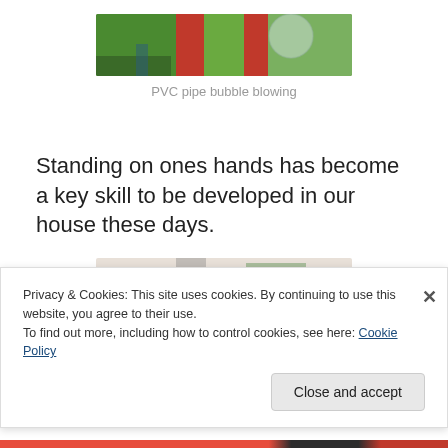[Figure (photo): Close-up photo showing hands and a PVC pipe over green grass, bubble blowing activity]
PVC pipe bubble blowing
Standing on ones hands has become a key skill to be developed in our house these days.
[Figure (photo): Partial photo showing a person or object, partially obscured by cookie banner]
Privacy & Cookies: This site uses cookies. By continuing to use this website, you agree to their use.
To find out more, including how to control cookies, see here: Cookie Policy
Close and accept